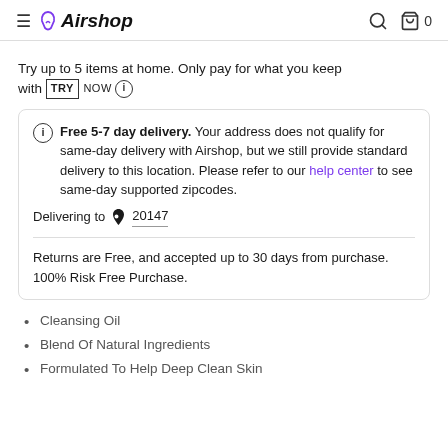Airshop — search and cart icons
Try up to 5 items at home. Only pay for what you keep with TRY NOW ⓘ
ⓘ Free 5-7 day delivery. Your address does not qualify for same-day delivery with Airshop, but we still provide standard delivery to this location. Please refer to our help center to see same-day supported zipcodes. Delivering to 📍 20147
Returns are Free, and accepted up to 30 days from purchase. 100% Risk Free Purchase.
Cleansing Oil
Blend Of Natural Ingredients
Formulated To Help Deep Clean Skin